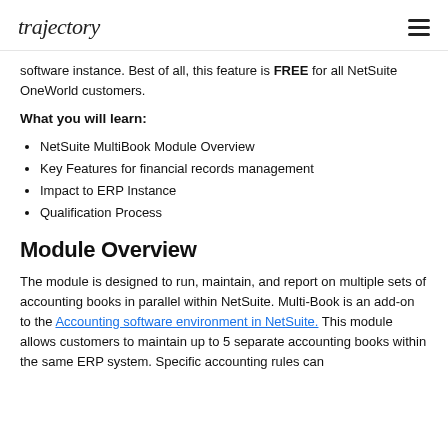trajectory
software instance. Best of all, this feature is FREE for all NetSuite OneWorld customers.
What you will learn:
NetSuite MultiBook Module Overview
Key Features for financial records management
Impact to ERP Instance
Qualification Process
Module Overview
The module is designed to run, maintain, and report on multiple sets of accounting books in parallel within NetSuite. Multi-Book is an add-on to the Accounting software environment in NetSuite. This module allows customers to maintain up to 5 separate accounting books within the same ERP system. Specific accounting rules can